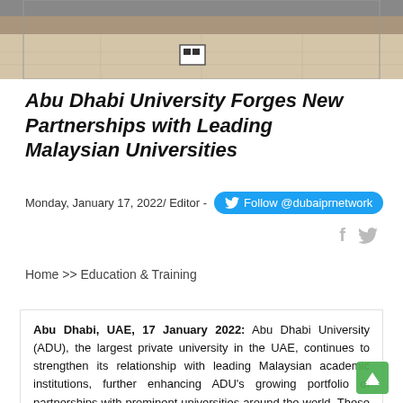[Figure (photo): Top portion of a photo showing an indoor floor/hallway with a sign on the floor, cropped at the top of the page]
Abu Dhabi University Forges New Partnerships with Leading Malaysian Universities
Monday, January 17, 2022/ Editor - Follow @dubaiprnetwork
Share
Home >> Education & Training
Abu Dhabi, UAE, 17 January 2022: Abu Dhabi University (ADU), the largest private university in the UAE, continues to strengthen its relationship with leading Malaysian academic institutions, further enhancing ADU's growing portfolio of partnerships with prominent universities around the world. These partnerships, which were discussed during a visit from a Malaysian delegation led by Dato' Professor Dr. Husaini Omar, Director General of the Ministry of Higher Education in